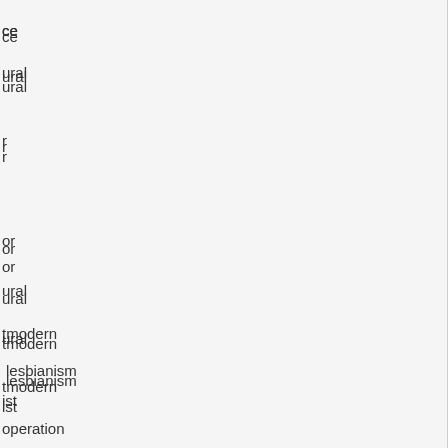ce
ural
r
or
ural
tmodern
lesbianism
ist
operation
Concepts
n's literature
ion against transgender women